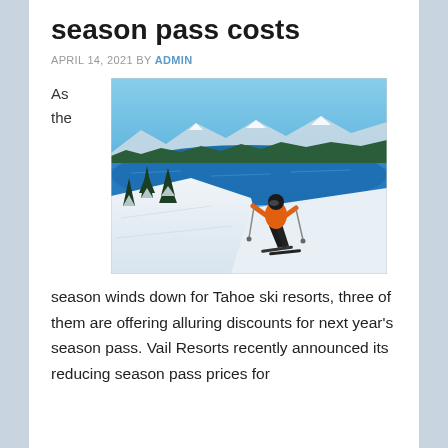season pass costs
APRIL 14, 2021 BY ADMIN
As the
[Figure (photo): A skier in an orange jacket skiing downhill with a scenic view of Lake Tahoe and snow-covered mountains in the background.]
season winds down for Tahoe ski resorts, three of them are offering alluring discounts for next year's season pass. Vail Resorts recently announced its reducing season pass prices for